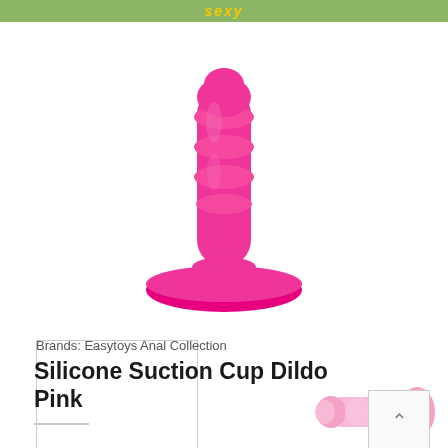sexy
[Figure (photo): Main product photo: bright pink silicone suction cup dildo standing upright on its suction cup base, centered on white background]
[Figure (photo): Thumbnail image placeholder (empty white box with border)]
[Figure (photo): Thumbnail image of the same pink silicone suction cup dildo shown horizontally/from side angle in light pink color]
Brands: Easytoys Anal Collection
Silicone Suction Cup Dildo Pink